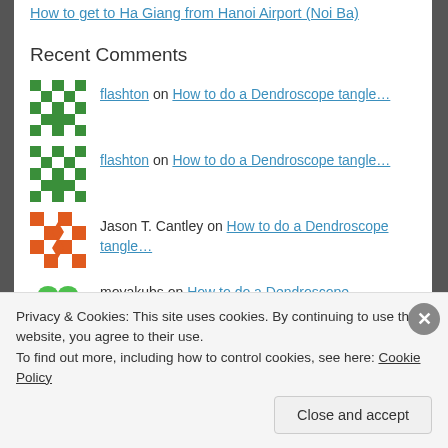How to get to Ha Giang from Hanoi Airport (Noi Ba)
Recent Comments
flashton on How to do a Dendroscope tangle…
flashton on How to do a Dendroscope tangle…
Jason T. Cantley on How to do a Dendroscope tangle…
moyakubs on How to do a Dendroscope
Privacy & Cookies: This site uses cookies. By continuing to use this website, you agree to their use. To find out more, including how to control cookies, see here: Cookie Policy
Close and accept